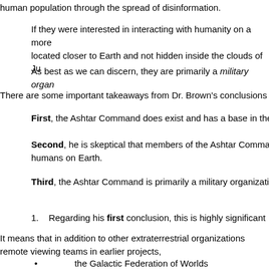human population through the spread of disinformation.
If they were interested in interacting with humanity on a more located closer to Earth and not hidden inside the clouds of Ju
As best as we can discern, they are primarily a military organ
There are some important takeaways from Dr. Brown's conclusions
First, the Ashtar Command does exist and has a base in the
Second, he is skeptical that members of the Ashtar Command humans on Earth.
Third, the Ashtar Command is primarily a military organizatio
Regarding his first conclusion, this is highly significant
It means that in addition to other extraterrestrial organizations remote viewing teams in earlier projects,
the Galactic Federation of Worlds
the Draconian (Reptilian) Empire
the Orion (Gray) Alliance
the 'Dominion'.